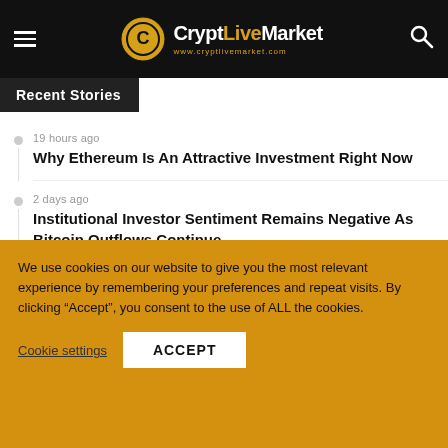CryptLiveMarket www.cryptlivemarket.com
Recent Stories
19 hours ago
Why Ethereum Is An Attractive Investment Right Now
2 days ago
Institutional Investor Sentiment Remains Negative As Bitcoin Outflows Continue
3 days ago
Another Red Weekly Close For Bitcoin, Why A Rebound Is On The Horizon
We use cookies on our website to give you the most relevant experience by remembering your preferences and repeat visits. By clicking “Accept”, you consent to the use of ALL the cookies.